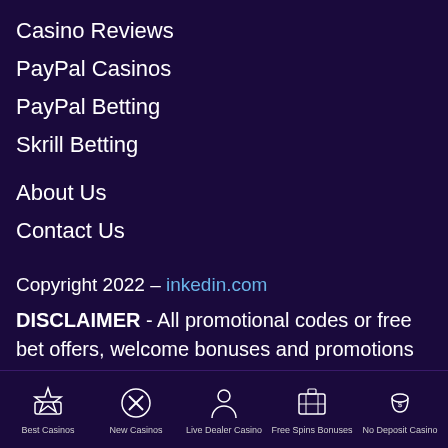Casino Reviews
PayPal Casinos
PayPal Betting
Skrill Betting
About Us
Contact Us
Copyright 2022 – inkedin.com
DISCLAIMER - All promotional codes or free bet offers, welcome bonuses and promotions that are listed on this site are subject to the terms and
[Figure (infographic): Footer navigation bar with 5 icons: Best Casinos (trophy/star icon), New Casinos (X icon), Live Dealer Casino (dealer/person icon), Free Spins Bonuses (slot machine icon), No Deposit Casino (money bag icon)]